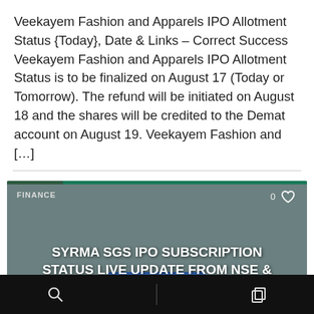Veekayem Fashion and Apparels IPO Allotment Status {Today}, Date & Links – Correct Success Veekayem Fashion and Apparels IPO Allotment Status is to be finalized on August 17 (Today or Tomorrow). The refund will be initiated on August 18 and the shares will be credited to the Demat account on August 19. Veekayem Fashion and [...]
[Figure (screenshot): Card image with dark teal/grey background showing text overlay 'SYRMA SGS IPO SUBSCRIPTION STATUS LIVE UPDATE FROM NSE & BSE' with a blue SGS logo watermark at bottom, FINANCE label top-left, and heart/like icon top-right showing 0 likes.]
Search and copy/duplicate icons on black navigation bar